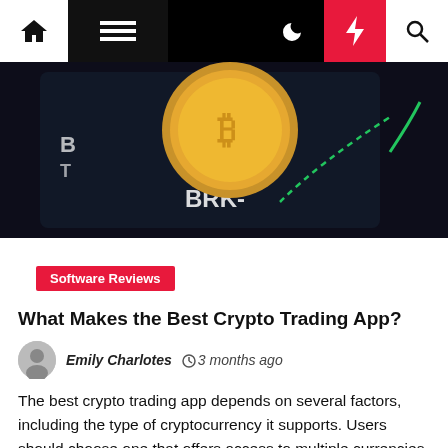Navigation bar with home, menu, moon, bolt, and search icons
[Figure (photo): Close-up photo of a gold Bitcoin coin resting on a smartphone displaying stock ticker symbols including BRK-, with a green upward dashed line visible on the screen]
Software Reviews
What Makes the Best Crypto Trading App?
Emily Charlotes  ⏱ 3 months ago
The best crypto trading app depends on several factors, including the type of cryptocurrency it supports. Users should choose one that offers access to multiple currencies, rather than a single cryptocurrency. Another important factor is the cost. Users should look at the broker's fee, which should